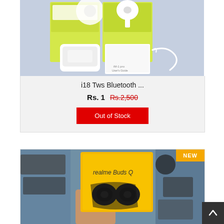[Figure (photo): i18 TWS Bluetooth earbuds product photo showing white earbuds, charging case, yellow-green box packaging, user guide booklet, and charging cable on a light blue surface]
i18 Tws Bluetooth ...
Rs. 1   Rs.2,500
Out of Stock
[Figure (photo): Realme Buds Q product photo showing yellow box packaging with the text 'realme Buds Q' and black TWS earbuds visible, held by a hand in a store environment]
NEW